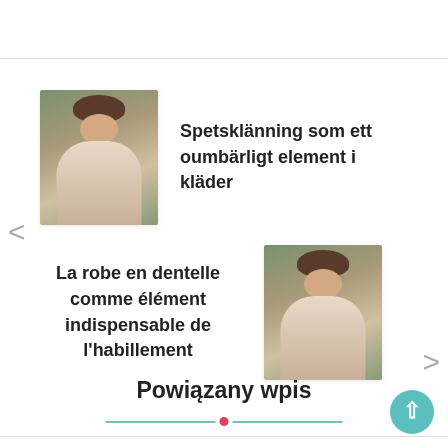[Figure (photo): Carousel item 1: photo of a woman in a white knitted top outdoors in nature]
Spetsklänning som ett oumbärligt element i kläder
La robe en dentelle comme élément indispensable de l'habillement
[Figure (photo): Carousel item 2: photo of a woman in a white knitted top outdoors in nature]
Powiązany wpis